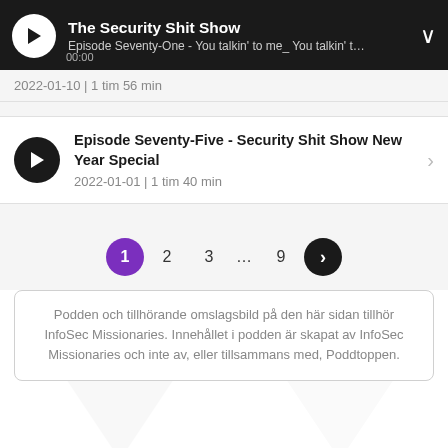The Security Shit Show — Episode Seventy-One - You talkin' to me_ You talkin' t… 00:00
2022-01-10 | 1 tim 56 min
Episode Seventy-Five - Security Shit Show New Year Special
2022-01-01 | 1 tim 40 min
1 2 3 … 9 ›
Podden och tillhörande omslagsbild på den här sidan tillhör InfoSec Missionaries. Innehållet i podden är skapat av InfoSec Missionaries och inte av, eller tillsammans med, Poddtoppen.